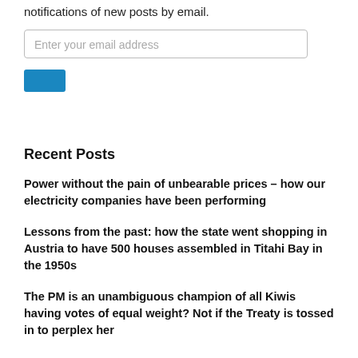notifications of new posts by email.
Enter your email address
Recent Posts
Power without the pain of unbearable prices – how our electricity companies have been performing
Lessons from the past: how the state went shopping in Austria to have 500 houses assembled in Titahi Bay in the 1950s
The PM is an unambiguous champion of all Kiwis having votes of equal weight? Not if the Treaty is tossed in to perplex her